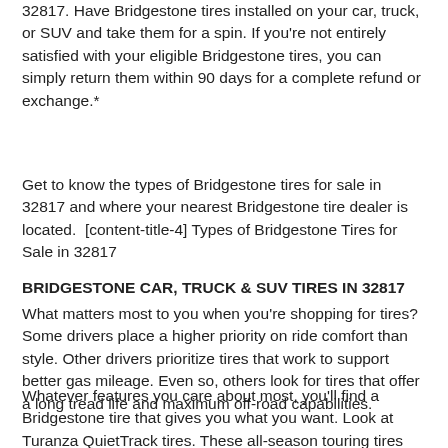32817. Have Bridgestone tires installed on your car, truck, or SUV and take them for a spin. If you're not entirely satisfied with your eligible Bridgestone tires, you can simply return them within 90 days for a complete refund or exchange.*
Get to know the types of Bridgestone tires for sale in 32817 and where your nearest Bridgestone tire dealer is located. [content-title-4] Types of Bridgestone Tires for Sale in 32817
BRIDGESTONE CAR, TRUCK & SUV TIRES IN 32817
What matters most to you when you're shopping for tires? Some drivers place a higher priority on ride comfort than style. Other drivers prioritize tires that work to support better gas mileage. Even so, others look for tires that offer a long tread life and maximum off-road capabilities.
Whatever features you care about most, you'll find a Bridgestone tire that gives you what you want. Look at Turanza QuietTrack tires. These all-season touring tires